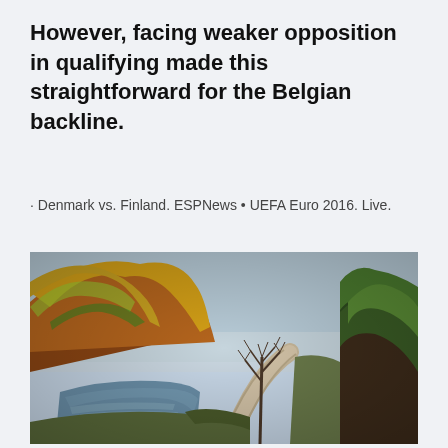However, facing weaker opposition in qualifying made this straightforward for the Belgian backline.
· Denmark vs. Finland. ESPNews • UEFA Euro 2016. Live.
[Figure (photo): Autumn landscape photograph showing a winding road alongside a river, with hills covered in orange and yellow foliage on the left, a bare tree in the center background, and dark green trees on the right under an overcast sky.]